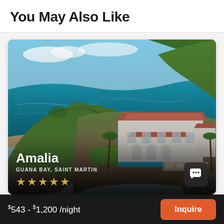You May Also Like
[Figure (photo): Aerial photo of Villa Amalia, a luxury white Mediterranean-style villa with red tile roofs and a pool, situated on a rocky cliffside overlooking turquoise Caribbean waters in Guana Bay, Saint Martin. Green hillside vegetation surrounds the property.]
Amalia
GUANA BAY, SAINT MARTIN
★★★★★
$543 - $1,200 /night
Inquire